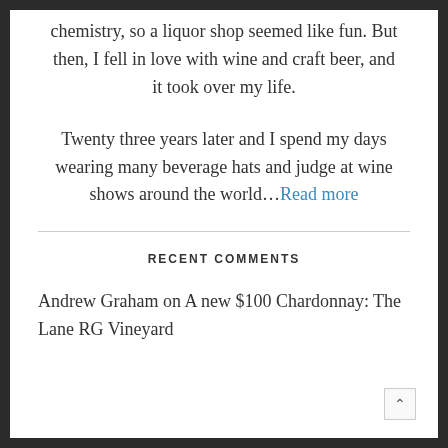chemistry, so a liquor shop seemed like fun. But then, I fell in love with wine and craft beer, and it took over my life.
Twenty three years later and I spend my days wearing many beverage hats and judge at wine shows around the world...Read more
RECENT COMMENTS
Andrew Graham on A new $100 Chardonnay: The Lane RG Vineyard